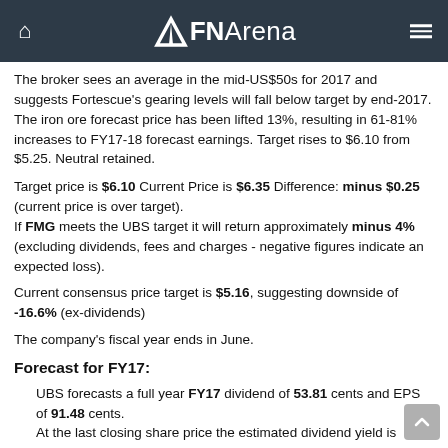FNArena
The broker sees an average in the mid-US$50s for 2017 and suggests Fortescue's gearing levels will fall below target by end-2017. The iron ore forecast price has been lifted 13%, resulting in 61-81% increases to FY17-18 forecast earnings. Target rises to $6.10 from $5.25. Neutral retained.
Target price is $6.10 Current Price is $6.35 Difference: minus $0.25 (current price is over target). If FMG meets the UBS target it will return approximately minus 4% (excluding dividends, fees and charges - negative figures indicate an expected loss).
Current consensus price target is $5.16, suggesting downside of -16.6% (ex-dividends)
The company's fiscal year ends in June.
Forecast for FY17:
UBS forecasts a full year FY17 dividend of 53.81 cents and EPS of 91.48 cents. At the last closing share price the estimated dividend yield is 8.47%. At the last closing share price the stock's estimated Price to Earnings Ratio (PER) is 6.94.